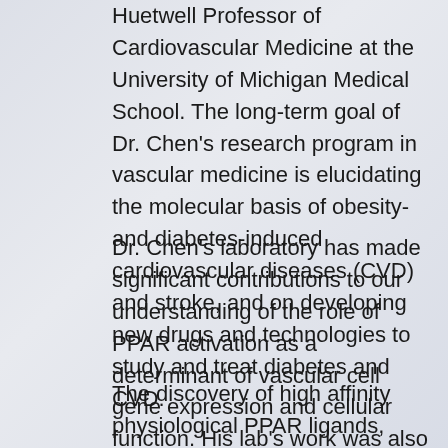Huetwell Professor of Cardiovascular Medicine at the University of Michigan Medical School. The long-term goal of Dr. Chen's research program in vascular medicine is elucidating the molecular basis of obesity- and diabetes-induced cardiovascular diseases (CVD) and stroke, and on developing new drugs and technologies to study and treat diabetes and CVD.
Dr. Chen's laboratory has made significant contributions to our understanding of the role of PPAR activation as a determinant of vascular cell gene expression and cellular function. His lab's work was also among the first to define the role of PPAR activation in the cardiovascular system.
The discovery of high affinity physiological PPAR ligands, nitro-fatty acids advances our understanding of endogenous PPAR modulation and provides novel therapeutic strategies for